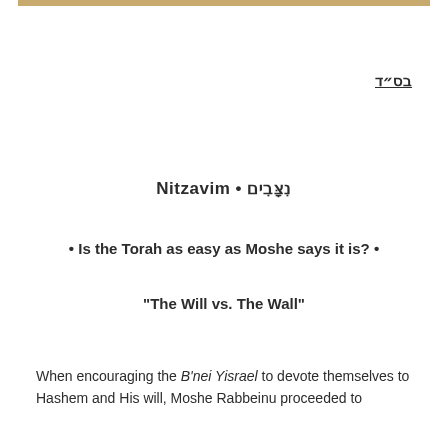בס״ד
Nitzavim • נִצָּבִים
• Is the Torah as easy as Moshe says it is? •
"The Will vs. The Wall"
When encouraging the B'nei Yisrael to devote themselves to Hashem and His will, Moshe Rabbeinu proceeded to